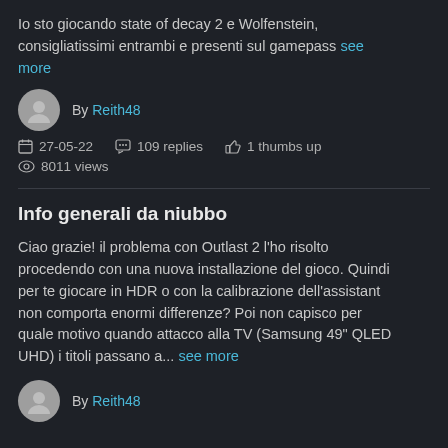Io sto giocando state of decay 2 e Wolfenstein, consigliatissimi entrambi e presenti sul gamepass see more
By Reith48
27-05-22   109 replies   1 thumbs up   8011 views
Info generali da niubbo
Ciao grazie! il problema con Outlast 2 l'ho risolto procedendo con una nuova installazione del gioco. Quindi per te giocare in HDR o con la calibrazione dell'assistant non comporta enormi differenze? Poi non capisco per quale motivo quando attacco alla TV (Samsung 49" QLED UHD) i titoli passano a... see more
By Reith48